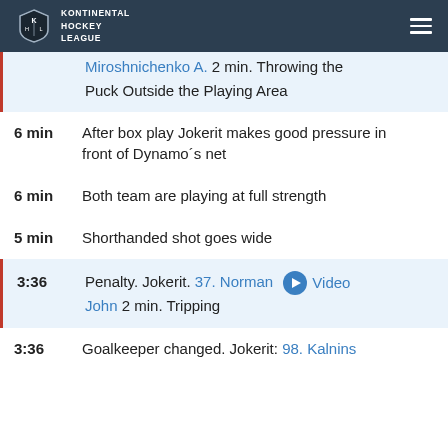KHL Kontinental Hockey League
Miroshnichenko A. 2 min. Throwing the Puck Outside the Playing Area
6 min  After box play Jokerit makes good pressure in front of Dynamo's net
6 min  Both team are playing at full strength
5 min  Shorthanded shot goes wide
3:36  Penalty. Jokerit. 37. Norman John 2 min. Tripping  Video
3:36  Goalkeeper changed. Jokerit: 98. Kalnins